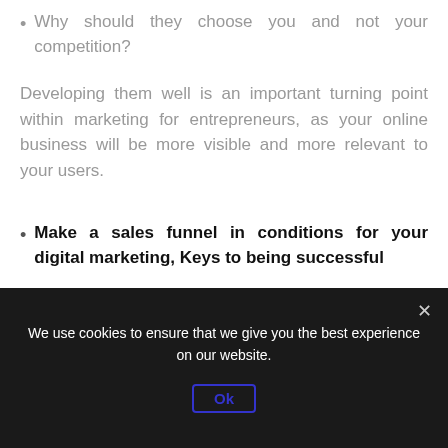Why should they choose you and not your competition?
Developing them well is an important turning point within marketing for entrepreneurs, as your online business will be more visible and more relevant to your users.
Make a sales funnel in conditions for your digital marketing, Keys to being successful
We use cookies to ensure that we give you the best experience on our website.
Ok